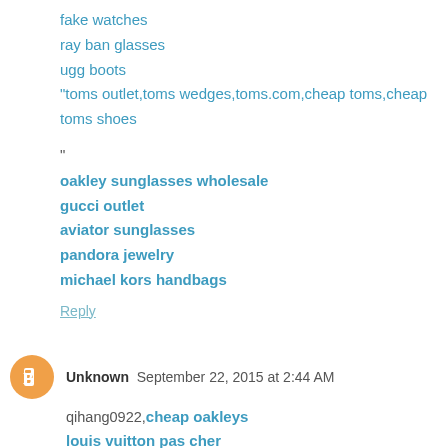fake watches
ray ban glasses
ugg boots
"toms outlet,toms wedges,toms.com,cheap toms,cheap toms shoes
"
oakley sunglasses wholesale
gucci outlet
aviator sunglasses
pandora jewelry
michael kors handbags
Reply
Unknown  September 22, 2015 at 2:44 AM
qihang0922,cheap oakleys
louis vuitton pas cher
hollister co
coach factory outlet
ed hardy uk